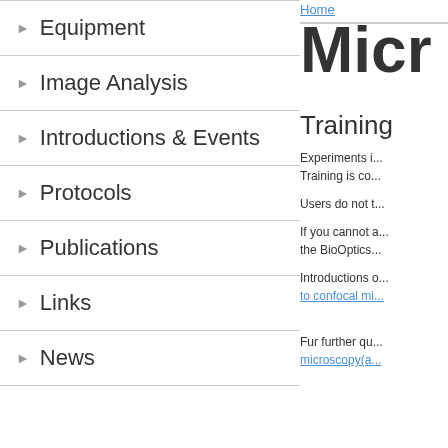Equipment
Image Analysis
Introductions & Events
Protocols
Publications
Links
News
Home
Micr
Training
Experiments i... Training is co...
Users do not t...
If you cannot ... the BioOptics...
Introductions ... to confocal mi...
Fur further qu... microscopy(a...